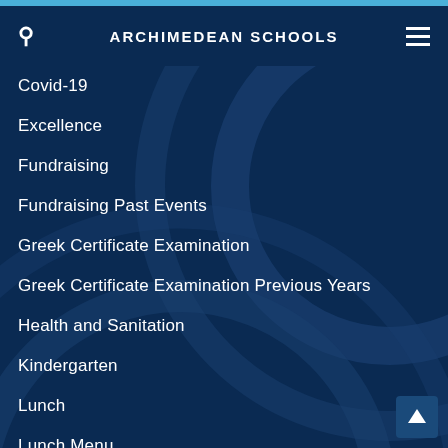ARCHIMEDEAN SCHOOLS
Covid-19
Excellence
Fundraising
Fundraising Past Events
Greek Certificate Examination
Greek Certificate Examination Previous Years
Health and Sanitation
Kindergarten
Lunch
Lunch Menu
Lunch Program
Misc
Pre-K